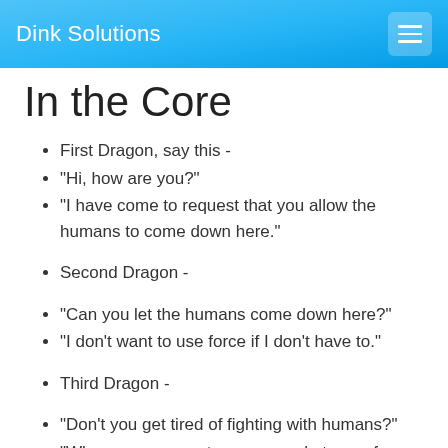Dink Solutions
In the Core
First Dragon, say this -
"Hi, how are you?"
"I have come to request that you allow the humans to come down here."
Second Dragon -
"Can you let the humans come down here?"
"I don't want to use force if I don't have to."
Third Dragon -
"Don't you get tired of fighting with humans?"
"Why can one event cause people to war for years?"